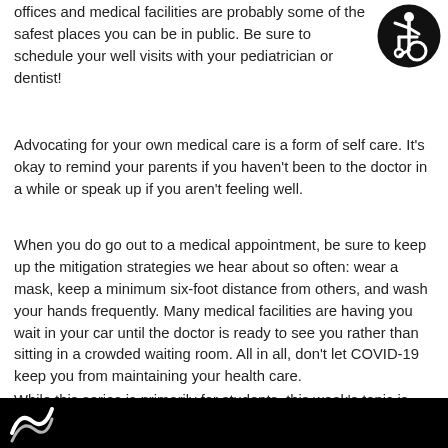offices and medical facilities are probably some of the safest places you can be in public. Be sure to schedule your well visits with your pediatrician or dentist!
[Figure (illustration): Accessibility icon: person in wheelchair inside a black circle]
Advocating for your own medical care is a form of self care. It's okay to remind your parents if you haven't been to the doctor in a while or speak up if you aren't feeling well.
When you do go out to a medical appointment, be sure to keep up the mitigation strategies we hear about so often: wear a mask, keep a minimum six-foot distance from others, and wash your hands frequently. Many medical facilities are having you wait in your car until the doctor is ready to see you rather than sitting in a crowded waiting room. All in all, don't let COVID-19 keep you from maintaining your health care.
While this series is primarily for students, this week's topic is especially true for parents and other adults as well. Parents shouldn't neglect their own medical care, either!
Next week's topic is a surprise – stay tuned!
[Figure (photo): Black bar at bottom with white logo/icon visible on left side]